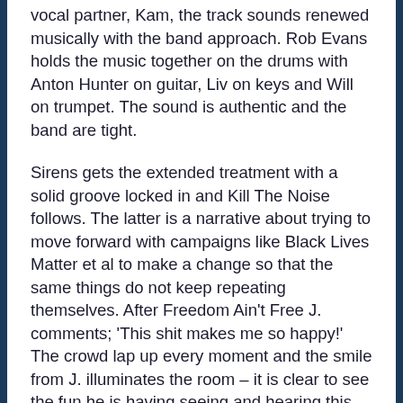vocal partner, Kam, the track sounds renewed musically with the band approach. Rob Evans holds the music together on the drums with Anton Hunter on guitar, Liv on keys and Will on trumpet. The sound is authentic and the band are tight.
Sirens gets the extended treatment with a solid groove locked in and Kill The Noise follows. The latter is a narrative about trying to move forward with campaigns like Black Lives Matter et al to make a change so that the same things do not keep repeating themselves. After Freedom Ain't Free J. comments; 'This shit makes me so happy!' The crowd lap up every moment and the smile from J. illuminates the room – it is clear to see the fun he is having seeing and hearing this project come together like this.